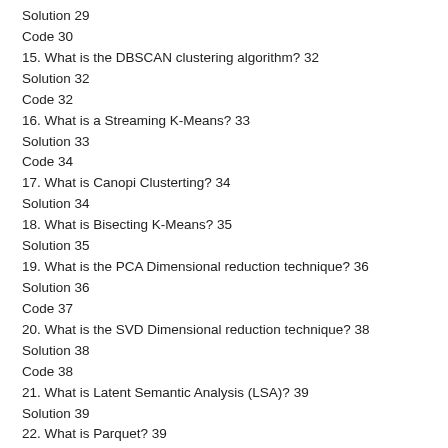Solution 29
Code 30
15. What is the DBSCAN clustering algorithm? 32
Solution 32
Code 32
16. What is a Streaming K-Means? 33
Solution 33
Code 34
17. What is Canopi Clusterting? 34
Solution 34
18. What is Bisecting K-Means? 35
Solution 35
19. What is the PCA Dimensional reduction technique? 36
Solution 36
Code 37
20. What is the SVD Dimensional reduction technique? 38
Solution 38
Code 38
21. What is Latent Semantic Analysis (LSA)? 39
Solution 39
22. What is Parquet? 39
Solution 39